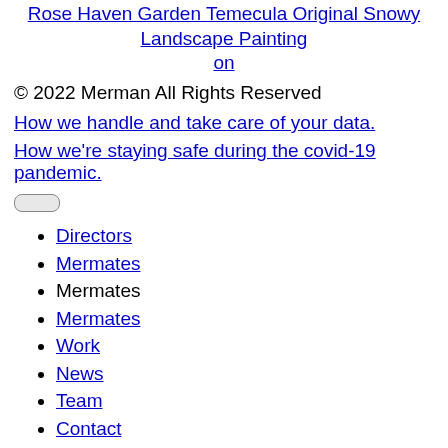Rose Haven Garden Temecula Original Snowy Landscape Painting on
© 2022 Merman All Rights Reserved
How we handle and take care of your data.
How we're staying safe during the covid-19 pandemic.
Directors
Mermates
Mermates
Mermates
Work
News
Team
Contact
UK | US UK | US